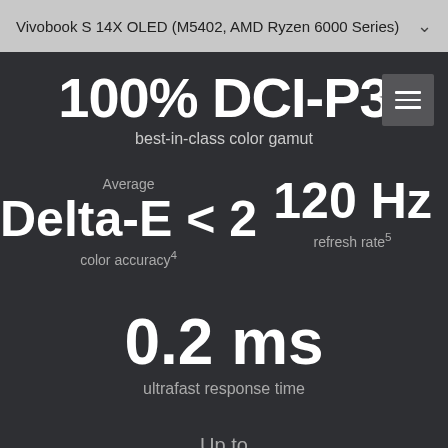Vivobook S 14X OLED (M5402, AMD Ryzen 6000 Series)
100% DCI-P3
best-in-class color gamut
Average
Delta-E < 2
color accuracy4
120 Hz
refresh rate5
0.2 ms
ultrafast response time
Up to